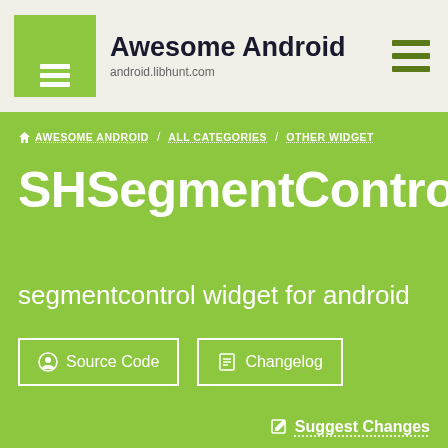Awesome Android — android.libhunt.com
AWESOME ANDROID / ALL CATEGORIES / OTHER WIDGET
SHSegmentControl
segmentcontrol widget for android
Source Code
Changelog
Suggest Changes